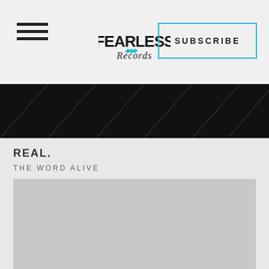Fearless Records — SUBSCRIBE
[Figure (screenshot): Black video/image bar spanning full width]
REAL.
THE WORD ALIVE
[Figure (photo): Gray placeholder rectangle for album art or embedded content]